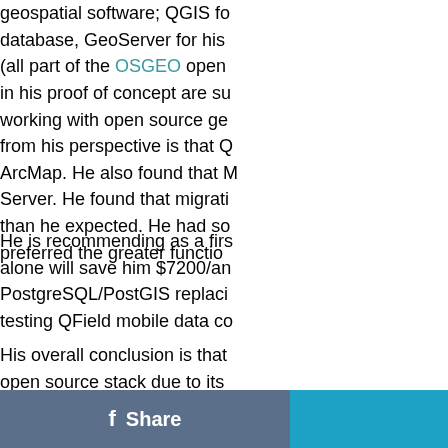geospatial software; QGIS for database, GeoServer for his (all part of the OSGEO open in his proof of concept are su working with open source ge from his perspective is that Q ArcMap. He also found that M Server. He found that migrati than he expected. He had so preferred the greater functio
He is recommending as a firs alone will save him $7200/an PostgreSQL/PostGIS replaci testing QField mobile data co
His overall conclusion is that open source stack due to its that it is possible to move to implementation and that som expected.